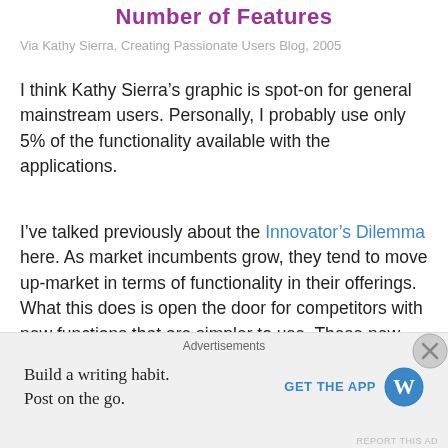Number of Features
Via Kathy Sierra, Creating Passionate Users Blog, 2005
I think Kathy Sierra’s graphic is spot-on for general mainstream users. Personally, I probably use only 5% of the functionality available with the applications.
I’ve talked previously about the Innovator’s Dilemma here. As market incumbents grow, they tend to move up-market in terms of functionality in their offerings. What this does is open the door for competitors with new functions that are simpler to use. These new competitors target a niche, and grow slowly upward from there.
Facebook’s niche is still heavily Gen Y. But they’re gaining
Advertisements
Build a writing habit. Post on the go.
GET THE APP